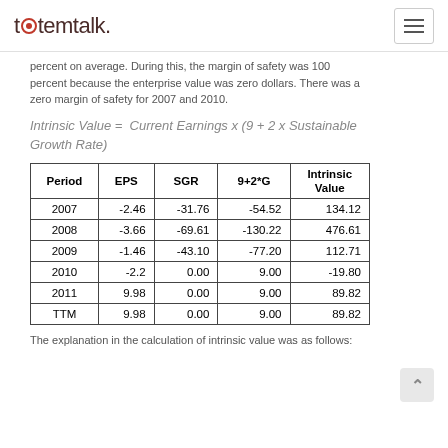totemtalk.
percent on average. During this, the margin of safety was 100 percent because the enterprise value was zero dollars. There was a zero margin of safety for 2007 and 2010.
| Period | EPS | SGR | 9+2*G | Intrinsic Value |
| --- | --- | --- | --- | --- |
| 2007 | -2.46 | -31.76 | -54.52 | 134.12 |
| 2008 | -3.66 | -69.61 | -130.22 | 476.61 |
| 2009 | -1.46 | -43.10 | -77.20 | 112.71 |
| 2010 | -2.2 | 0.00 | 9.00 | -19.80 |
| 2011 | 9.98 | 0.00 | 9.00 | 89.82 |
| TTM | 9.98 | 0.00 | 9.00 | 89.82 |
The explanation in the calculation of intrinsic value was as follows: